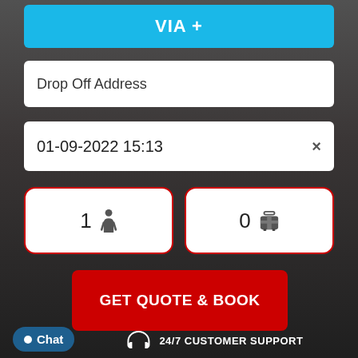VIA +
Drop Off Address
01-09-2022 15:13
1 [person icon]
0 [luggage icon]
GET QUOTE & BOOK
Chat
24/7 CUSTOMER SUPPORT